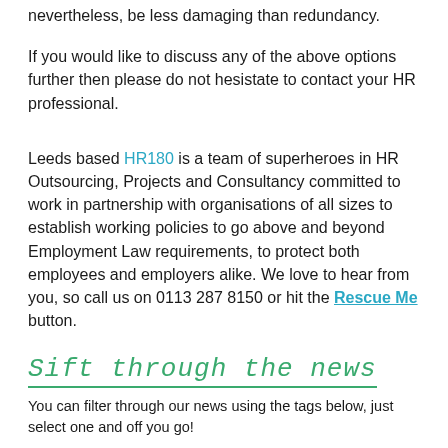nevertheless, be less damaging than redundancy.
If you would like to discuss any of the above options further then please do not hesistate to contact your HR professional.
Leeds based HR180 is a team of superheroes in HR Outsourcing, Projects and Consultancy committed to work in partnership with organisations of all sizes to establish working policies to go above and beyond Employment Law requirements, to protect both employees and employers alike. We love to hear from you, so call us on 0113 287 8150 or hit the Rescue Me button.
Sift through the news
You can filter through our ​news using the tags below, ​just select one and off ​you go!
Caught in HR
What we do
Employment law resource